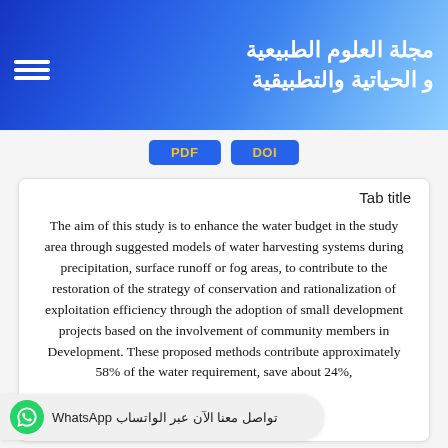مجلة العلوم الطبيعية و الحياتية والتطبيقية
Tab title
The aim of this study is to enhance the water budget in the study area through suggested models of water harvesting systems during precipitation, surface runoff or fog areas, to contribute to the restoration of the strategy of conservation and rationalization of exploitation efficiency through the adoption of small development projects based on the involvement of community members in Development. These proposed methods contribute approximately 58% of the water requirement, save about 24%,